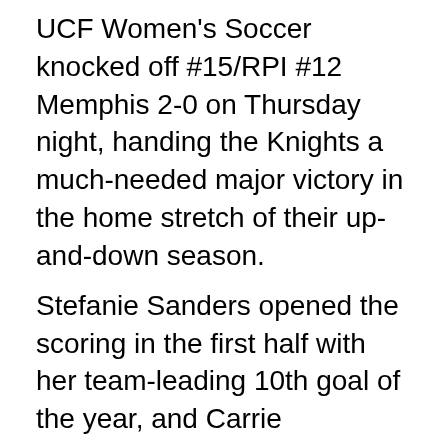UCF Women's Soccer knocked off #15/RPI #12 Memphis 2-0 on Thursday night, handing the Knights a much-needed major victory in the home stretch of their up-and-down season.
Stefanie Sanders opened the scoring in the first half with her team-leading 10th goal of the year, and Carrie